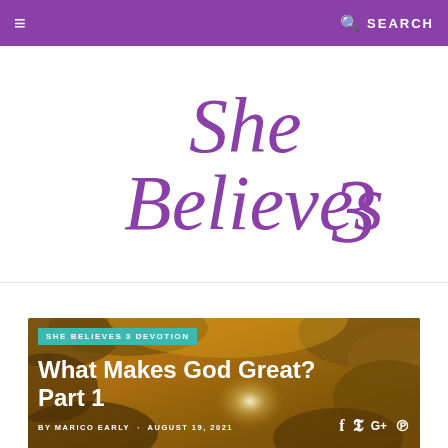☰  SEARCH
[Figure (logo): She Believes 3 logo in purple script/cursive font on white background]
[Figure (photo): Article card with dramatic golden cloudy sky background. Contains category label 'SHE BELIEVES 3 DEVOTION', article title 'What Makes God Great? Part 1', byline 'BY MARICO EARLY · AUGUST 19, 2021', and social media icons (Facebook, Twitter, Google+, Pinterest).]